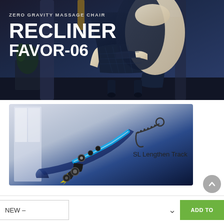[Figure (photo): Hero banner showing a Zero Gravity Massage Chair Recliner FAVOR-06 in dark blue and cream/white color on a dark studio background with decorative columns and plant]
ZERO GRAVITY MASSAGE CHAIR
RECLINER
FAVOR-06
[Figure (illustration): Product feature illustration showing SL Lengthen Track technology with a robotic mechanism extending along a reclining body silhouette, with blue glow effects and a yellow arrow. An icon of a reclining figure with spine dots and the label 'SL Lengthen Track' appears on the right.]
NEW –
ADD TO